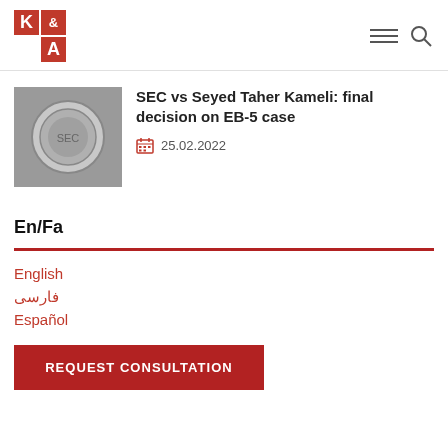[Figure (logo): K&A law firm logo: red tiles arranged in 2x2 grid with K, &, and A letters]
[Figure (photo): Close-up photo of an official government seal (appears to be SEC medal/coin)]
SEC vs Seyed Taher Kameli: final decision on EB-5 case
25.02.2022
En/Fa
English
فارسی
Español
REQUEST CONSULTATION